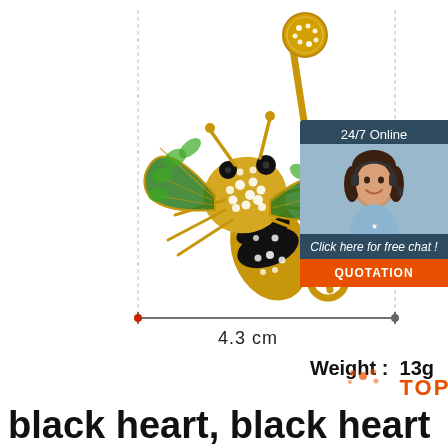[Figure (photo): Product photo of a bee-shaped rhinestone brooch pin in gold with green enamel wings and black/white crystals on a white background, with dimension measurement lines showing 4.3 cm width]
24/7 Online
Click here for free chat !
QUOTATION
4.3 cm
Weight: 13g
TOP
black heart, black heart